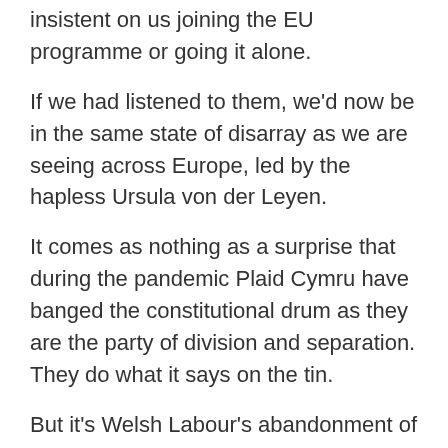insistent on us joining the EU programme or going it alone.
If we had listened to them, we'd now be in the same state of disarray as we are seeing across Europe, led by the hapless Ursula von der Leyen.
It comes as nothing as a surprise that during the pandemic Plaid Cymru have banged the constitutional drum as they are the party of division and separation. They do what it says on the tin.
But it's Welsh Labour's abandonment of the United Kingdom for political gain that is causing most confusion and division.
Wales' First Minister doesn't just talk